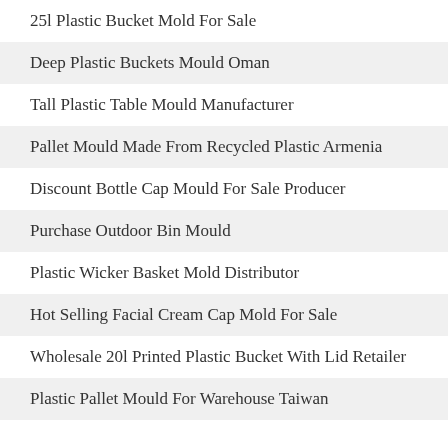25l Plastic Bucket Mold For Sale
Deep Plastic Buckets Mould Oman
Tall Plastic Table Mould Manufacturer
Pallet Mould Made From Recycled Plastic Armenia
Discount Bottle Cap Mould For Sale Producer
Purchase Outdoor Bin Mould
Plastic Wicker Basket Mold Distributor
Hot Selling Facial Cream Cap Mold For Sale
Wholesale 20l Printed Plastic Bucket With Lid Retailer
Plastic Pallet Mould For Warehouse Taiwan